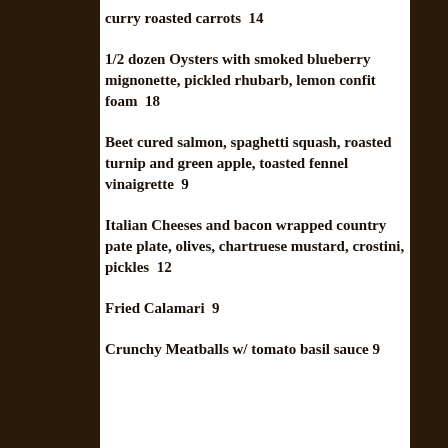curry roasted carrots  14
1/2 dozen Oysters with smoked blueberry mignonette, pickled rhubarb, lemon confit foam  18
Beet cured salmon, spaghetti squash, roasted turnip and green apple, toasted fennel vinaigrette  9
Italian Cheeses and bacon wrapped country pate plate, olives, chartruese mustard, crostini, pickles  12
Fried Calamari  9
Crunchy Meatballs w/ tomato basil sauce 9